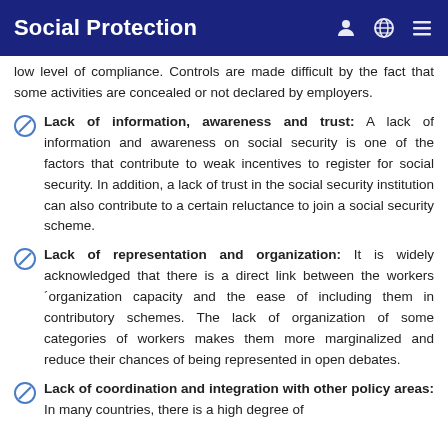Social Protection
low level of compliance. Controls are made difficult by the fact that some activities are concealed or not declared by employers.
Lack of information, awareness and trust: A lack of information and awareness on social security is one of the factors that contribute to weak incentives to register for social security. In addition, a lack of trust in the social security institution can also contribute to a certain reluctance to join a social security scheme.
Lack of representation and organization: It is widely acknowledged that there is a direct link between the workers´organization capacity and the ease of including them in contributory schemes. The lack of organization of some categories of workers makes them more marginalized and reduce their chances of being represented in open debates.
Lack of coordination and integration with other policy areas: In many countries, there is a high degree of